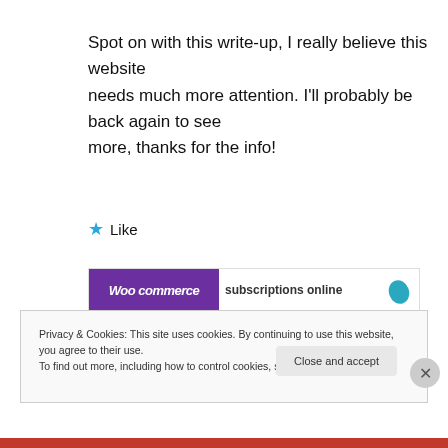Spot on with this write-up, I really believe this website needs much more attention. I'll probably be back again to see more, thanks for the info!
★ Like
[Figure (other): Advertisement banner for WooCommerce subscriptions online with purple logo and teal leaf icon]
REPORT THIS AD
Privacy & Cookies: This site uses cookies. By continuing to use this website, you agree to their use.
To find out more, including how to control cookies, see here: Cookie Policy
Close and accept